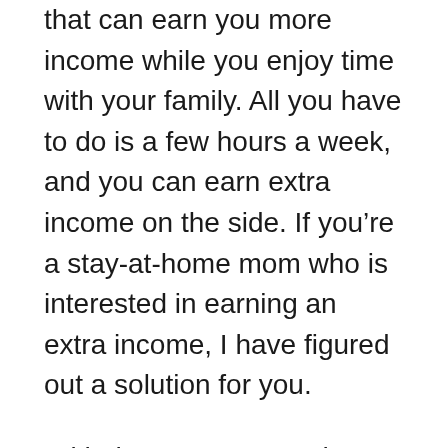that can earn you more income while you enjoy time with your family. All you have to do is a few hours a week, and you can earn extra income on the side. If you're a stay-at-home mom who is interested in earning an extra income, I have figured out a solution for you.
With the economy on the decline, some mothers are finding themselves in need of side hustles to maintain their current lifestyles. This is something that is becoming more common as the economy continues to suffer. The problem is that these side hustles do not allow the mothers enough time to spend with their children. If you do not have the time to do the things you used to do, then what